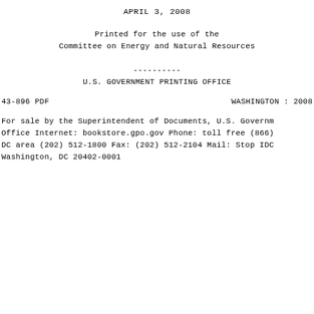APRIL 3, 2008
Printed for the use of the
Committee on Energy and Natural Resources
----------
U.S. GOVERNMENT PRINTING OFFICE
43-896 PDF                    WASHINGTON : 2008
For sale by the Superintendent of Documents, U.S. Government Printing Office Internet: bookstore.gpo.gov Phone: toll free (866) DC area (202) 512-1800 Fax: (202) 512-2104 Mail: Stop IDC Washington, DC 20402-0001